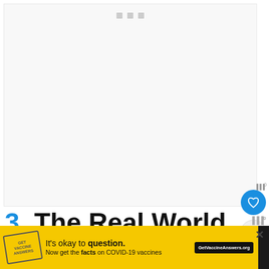[Figure (screenshot): Large white/light gray empty content area representing a webpage or app screen, with three small gray square icons at the top center]
3. The Real World Kept Turning
[Figure (infographic): Yellow advertisement banner at the bottom: 'It's okay to question. Now get the facts on COVID-19 vaccines — GetVaccineAnswers.org' with a stamp graphic and close button]
[Figure (infographic): Blue circular icon buttons on the right side: a heart/save button and a share button with spark indicators]